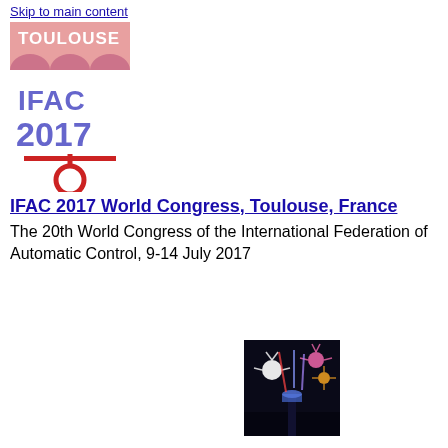Skip to main content
[Figure (logo): IFAC 2017 World Congress logo with Toulouse text and stylized IFAC 2017 lettering]
IFAC 2017 World Congress, Toulouse, France
The 20th World Congress of the International Federation of Automatic Control, 9-14 July 2017
[Figure (photo): Fireworks display photo at night with colorful fireworks and illuminated structures]